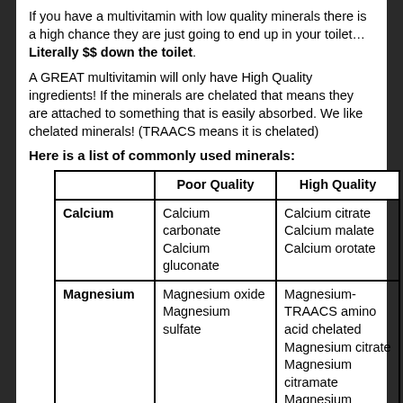If you have a multivitamin with low quality minerals there is a high chance they are just going to end up in your toilet… Literally $$ down the toilet.
A GREAT multivitamin will only have High Quality ingredients! If the minerals are chelated that means they are attached to something that is easily absorbed. We like chelated minerals! (TRAACS means it is chelated)
Here is a list of commonly used minerals:
|  | Poor Quality | High Quality |
| --- | --- | --- |
| Calcium | Calcium carbonate Calcium gluconate | Calcium citrate Calcium malate Calcium orotate |
| Magnesium | Magnesium oxide Magnesium sulfate | Magnesium-TRAACS amino acid chelated Magnesium citrate Magnesium citramate Magnesium |